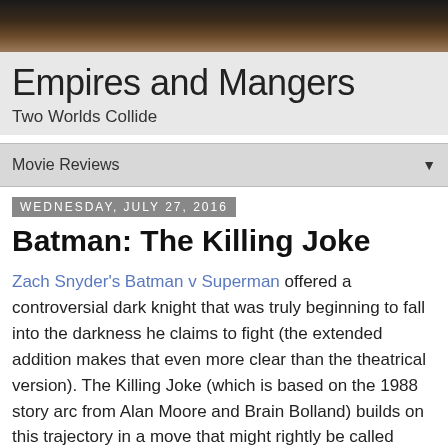[Figure (photo): Dark blurred header photo with shadowy background tones of brown and black]
Empires and Mangers
Two Worlds Collide
Movie Reviews ▼
Wednesday, July 27, 2016
Batman: The Killing Joke
Zach Snyder's Batman v Superman offered a controversial dark knight that was truly beginning to fall into the darkness he claims to fight (the extended addition makes that even more clear than the theatrical version). The Killing Joke (which is based on the 1988 story arc from Alan Moore and Brain Bolland) builds on this trajectory in a move that might rightly be called Breaking Bat.You can find summaries of the plot elsewhere; I prefer to focus on the worldview within the movie.